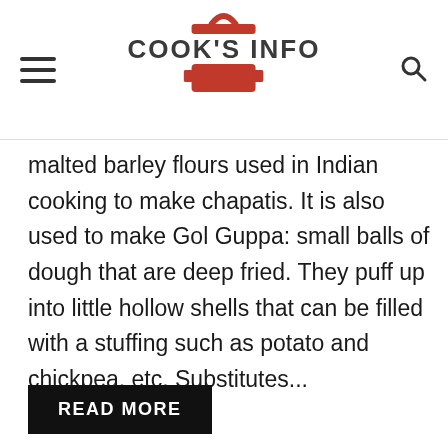COOK'S INFO
malted barley flours used in Indian cooking to make chapatis. It is also used to make Gol Guppa: small balls of dough that are deep fried. They puff up into little hollow shells that can be filled with a stuffing such as potato and chickpea, etc. Substitutes...
READ MORE